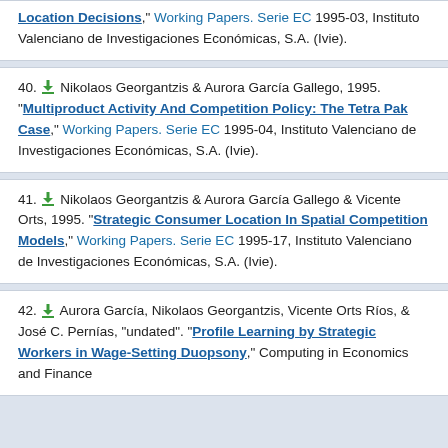Location Decisions," Working Papers. Serie EC 1995-03, Instituto Valenciano de Investigaciones Económicas, S.A. (Ivie).
40. Nikolaos Georgantzis & Aurora García Gallego, 1995. "Multiproduct Activity And Competition Policy: The Tetra Pak Case," Working Papers. Serie EC 1995-04, Instituto Valenciano de Investigaciones Económicas, S.A. (Ivie).
41. Nikolaos Georgantzis & Aurora García Gallego & Vicente Orts, 1995. "Strategic Consumer Location In Spatial Competition Models," Working Papers. Serie EC 1995-17, Instituto Valenciano de Investigaciones Económicas, S.A. (Ivie).
42. Aurora García, Nikolaos Georgantzis, Vicente Orts Ríos, & José C. Pernías, "undated". "Profile Learning by Strategic Workers in Wage-Setting Duopsony," Computing in Economics and Finance